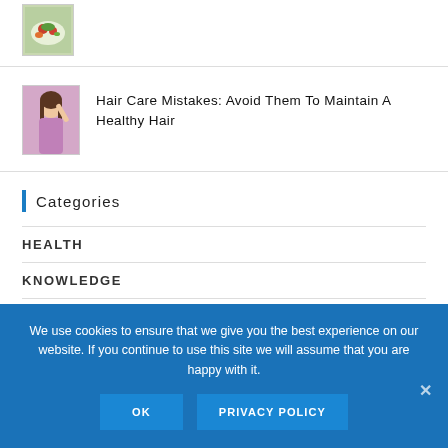[Figure (photo): Thumbnail image of vegetables/salad bowl (partially visible, cropped at top)]
[Figure (photo): Thumbnail image of a woman with long hair touching her hair, pink/purple background]
Hair Care Mistakes: Avoid Them To Maintain A Healthy Hair
Categories
HEALTH
KNOWLEDGE
RESEARCHES
We use cookies to ensure that we give you the best experience on our website. If you continue to use this site we will assume that you are happy with it.